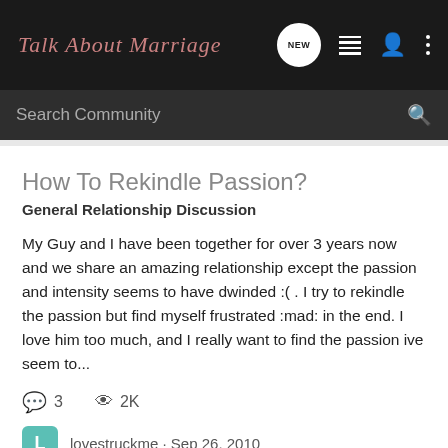Talk About Marriage
How To Rekindle Passion?
General Relationship Discussion
My Guy and I have been together for over 3 years now and we share an amazing relationship except the passion and intensity seems to have dwinded :( . I try to rekindle the passion but find myself frustrated :mad: in the end. I love him too much, and I really want to find the passion ive seem to...
3 replies, 2K views
lovestruckme · Sep 26, 2010
love
marriage
marriage enrichment
passion
passionate marriage